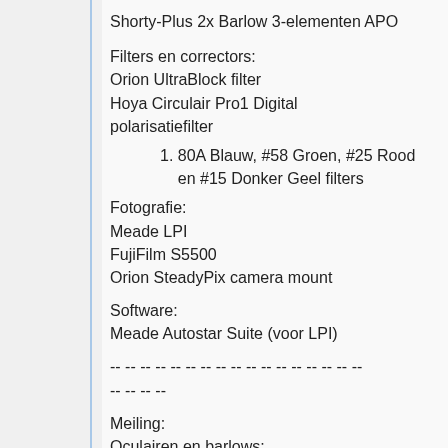Shorty-Plus 2x Barlow 3-elementen APO
Filters en correctors:
Orion UltraBlock filter
Hoya Circulair Pro1 Digital polarisatiefilter
1. 80A Blauw, #58 Groen, #25 Rood en #15 Donker Geel filters
Fotografie:
Meade LPI
FujiFilm S5500
Orion SteadyPix camera mount
Software:
Meade Autostar Suite (voor LPI)
-- -- -- -- -- -- -- -- -- -- -- -- -- -- -- -- --
-- -- -- --
Meiling:
Oculairen en barlows:
Vixen 1,25-inch zenitprisma